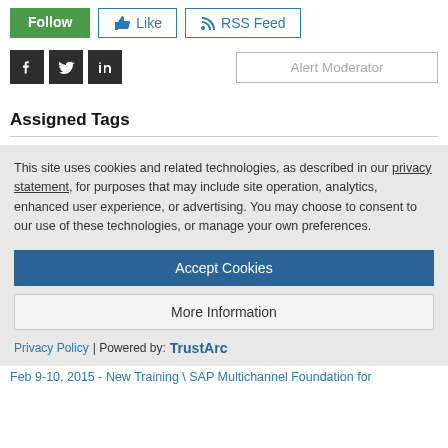[Figure (screenshot): Row of three buttons: Follow (green), Like (outlined with thumbs up icon), RSS Feed (outlined with RSS icon)]
[Figure (screenshot): Social media icons for Facebook, Twitter, LinkedIn and Alert Moderator button]
Assigned Tags
This site uses cookies and related technologies, as described in our privacy statement, for purposes that may include site operation, analytics, enhanced user experience, or advertising. You may choose to consent to our use of these technologies, or manage your own preferences.
Accept Cookies
More Information
Privacy Policy | Powered by: TrustArc
Feb 9-10, 2015 - New Training \ SAP Multichannel Foundation for